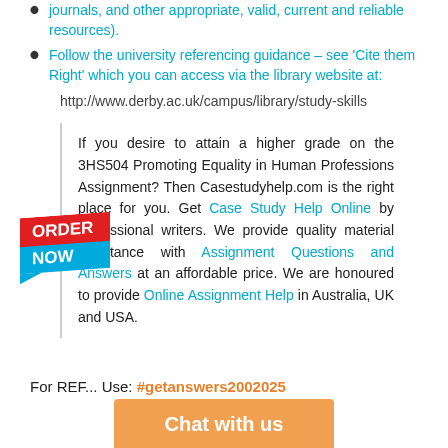journals, and other appropriate, valid, current and reliable resources).
Follow the university referencing guidance – see 'Cite them Right' which you can access via the library website at:
http://www.derby.ac.uk/campus/library/study-skills
If you desire to attain a higher grade on the 3HS504 Promoting Equality in Human Professions Assignment? Then Casestudyhelp.com is the right place for you. Get Case Study Help Online by professional writers. We provide quality material assistance with Assignment Questions and Answers at an affordable price. We are honoured to provide Online Assignment Help in Australia, UK and USA.
For REF... Use: #getanswers2002025